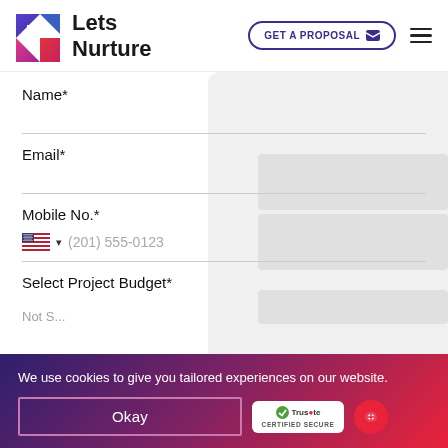[Figure (logo): LetsNurture logo with colorful geometric icon and text 'Lets Nurture']
GET A PROPOSAL
Name*
Email*
Mobile No.*
(201) 555-0123
Select Project Budget*
We use cookies to give you tailored experiences on our website.
Okay